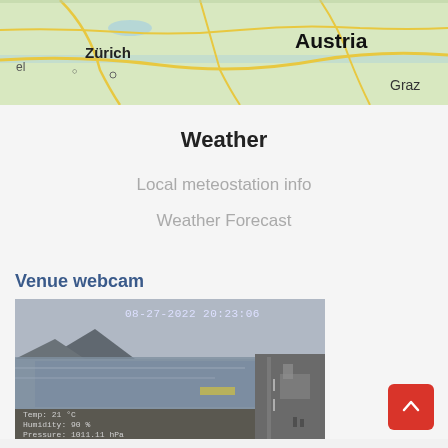[Figure (map): Map showing Central Europe including Zürich, Austria, and Graz with road network overlay]
Weather
Local meteostation info
Weather Forecast
Venue webcam
[Figure (photo): Webcam image of a river with a road alongside it, timestamp 08-27-2022 20:23:06, overlaid text showing Temp: 21°C, Humidity: 90%, Pressure: 1011.11 hPa]